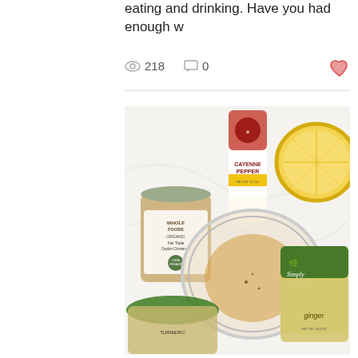eating and drinking. Have you had enough w
218  0
[Figure (photo): Overhead flat-lay photo of spice jars and ingredients including Whole Foods Organic Fair Trade Ceylon Cinnamon, Cayenne Pepper, Simply Organic Ginger, a halved lemon, and a glass bowl containing a golden liquid drink.]